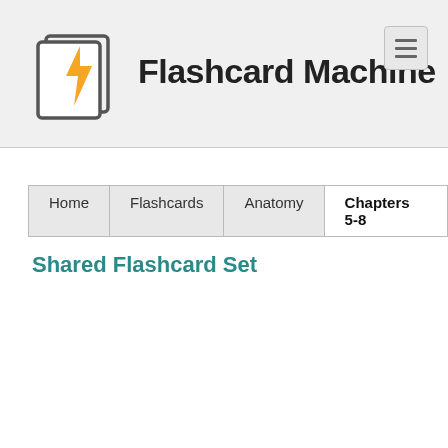Flashcard Machine
Home | Flashcards | Anatomy | Chapters 5-8
Shared Flashcard Set